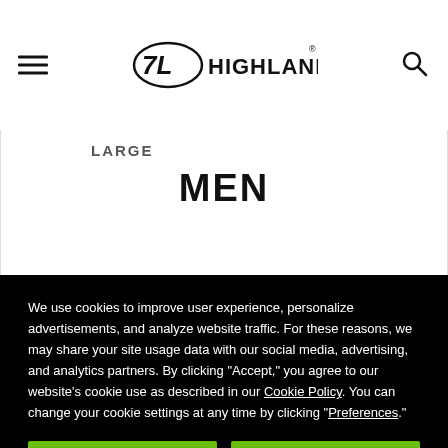HIGHLANDER
LARGE
MEN
We use cookies to improve user experience, personalize advertisements, and analyze website traffic. For these reasons, we may share your site usage data with our social media, advertising, and analytics partners. By clicking “Accept,” you agree to our website’s cookie use as described in our Cookie Policy. You can change your cookie settings at any time by clicking “Preferences.”
Decline
Accept
Preferences